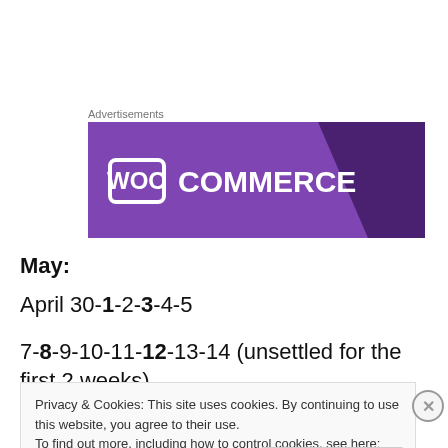Advertisements
[Figure (logo): WooCommerce advertisement banner with purple background and white WooCommerce logo text]
May:
April 30-1-2-3-4-5
7-8-9-10-11-12-13-14 (unsettled for the first 2 weeks)
Privacy & Cookies: This site uses cookies. By continuing to use this website, you agree to their use.
To find out more, including how to control cookies, see here: Cookie Policy